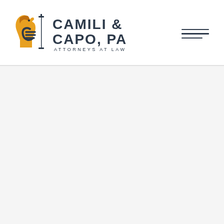[Figure (logo): Camili & Capo, PA Attorneys at Law law firm logo with horse head icon and pillar graphic]
[Figure (other): Hamburger menu icon with three horizontal lines in upper right corner]